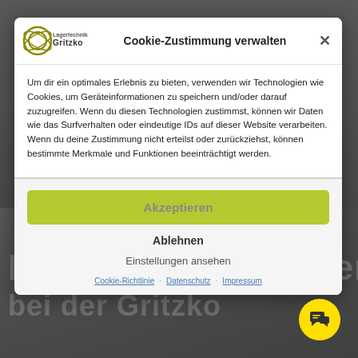[Figure (screenshot): Website background showing construction/lifting equipment, partially obscured by dark overlay. Logo of Gritzko Lagertechnik visible in top left. Herzlich Willkommen text visible at bottom.]
Cookie-Zustimmung verwalten
Um dir ein optimales Erlebnis zu bieten, verwenden wir Technologien wie Cookies, um Geräteinformationen zu speichern und/oder darauf zuzugreifen. Wenn du diesen Technologien zustimmst, können wir Daten wie das Surfverhalten oder eindeutige IDs auf dieser Website verarbeiten. Wenn du deine Zustimmung nicht erteilst oder zurückziehst, können bestimmte Merkmale und Funktionen beeinträchtigt werden.
Akzeptieren
Ablehnen
Einstellungen ansehen
Cookie-Richtlinie · Datenschutz · Impressum